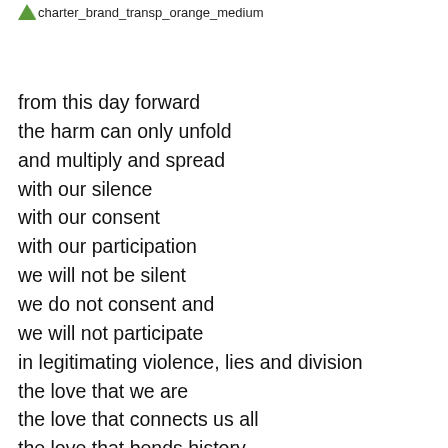charter_brand_transp_orange_medium
from this day forward
the harm can only unfold
and multiply and spread
with our silence
with our consent
with our participation
we will not be silent
we do not consent and
we will not participate
in legitimating violence, lies and division
the love that we are
the love that connects us all
the love that bends history
even in this dark moment
towards liberation